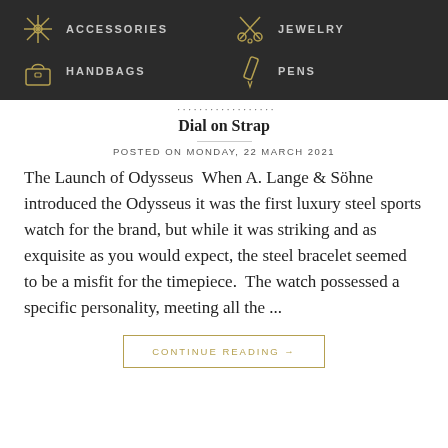ACCESSORIES  JEWELRY  HANDBAGS  PENS
Dial on Strap
POSTED ON MONDAY, 22 MARCH 2021
The Launch of Odysseus  When A. Lange & Söhne introduced the Odysseus it was the first luxury steel sports watch for the brand, but while it was striking and as exquisite as you would expect, the steel bracelet seemed to be a misfit for the timepiece.  The watch possessed a specific personality, meeting all the ...
CONTINUE READING →